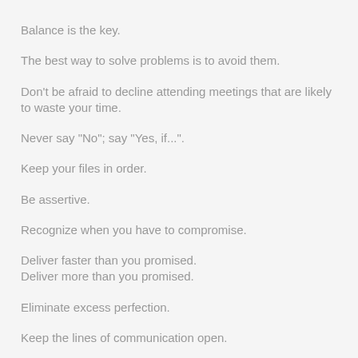Balance is the key.
The best way to solve problems is to avoid them.
Don’t be afraid to decline attending meetings that are likely to waste your time.
Never say “No”; say “Yes, if...”.
Keep your files in order.
Be assertive.
Recognize when you have to compromise.
Deliver faster than you promised.
Deliver more than you promised.
Eliminate excess perfection.
Keep the lines of communication open.